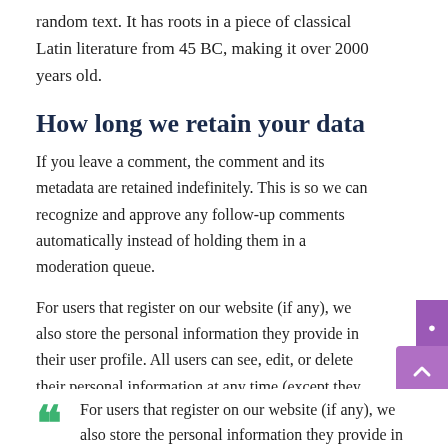random text. It has roots in a piece of classical Latin literature from 45 BC, making it over 2000 years old.
How long we retain your data
If you leave a comment, the comment and its metadata are retained indefinitely. This is so we can recognize and approve any follow-up comments automatically instead of holding them in a moderation queue.
For users that register on our website (if any), we also store the personal information they provide in their user profile. All users can see, edit, or delete their personal information at any time (except they cannot change their username). Website administrators can also see and edit that information.
For users that register on our website (if any), we also store the personal information they provide in